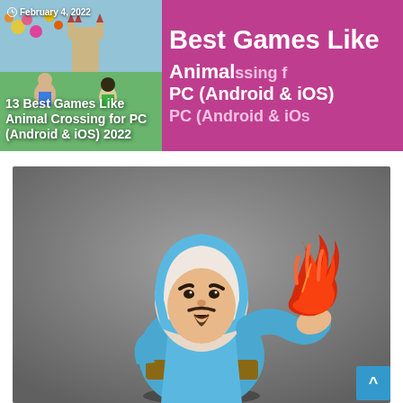[Figure (screenshot): Top banner with two sections: left side shows an Animal Crossing game screenshot with colorful characters and the date 'February 4, 2022', right side is magenta/pink with large white bold text 'Best Games Like ... PC (Android & iOS)']
13 Best Games Like Animal Crossing for PC (Android & iOS) 2022
[Figure (photo): Photo of a Clash of Clans wizard figurine/toy wearing a blue and white hooded robe, with a red flame/fire effect in one raised hand, against a blurred grey background. A small blue scroll-to-top button is visible in the bottom right corner.]